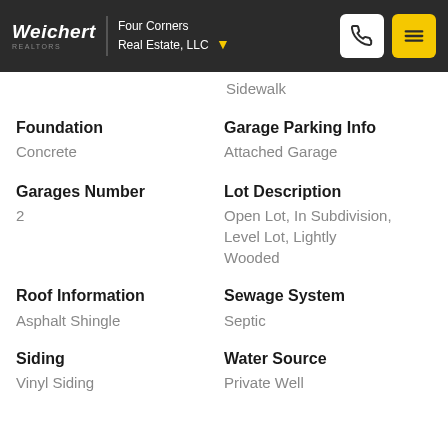Weichert REALTORS | Four Corners Real Estate, LLC
Sidewalk
Foundation
Concrete
Garage Parking Info
Attached Garage
Garages Number
2
Lot Description
Open Lot, In Subdivision, Level Lot, Lightly Wooded
Roof Information
Asphalt Shingle
Sewage System
Septic
Siding
Vinyl Siding
Water Source
Private Well